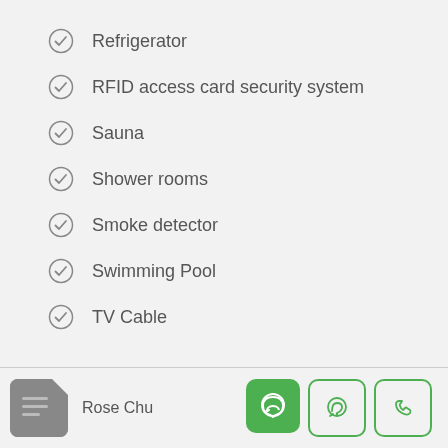Refrigerator
RFID access card security system
Sauna
Shower rooms
Smoke detector
Swimming Pool
TV Cable
Rose Chu